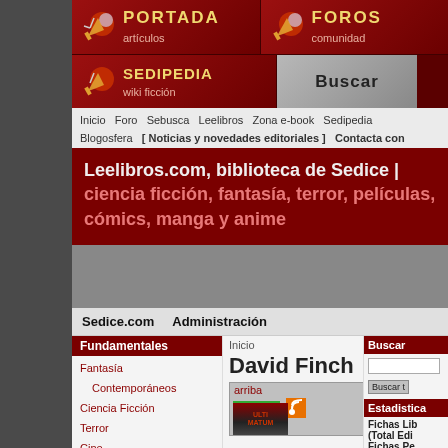[Figure (screenshot): Navigation header with PORTADA artículos, FOROS comunidad, SEDIPEDIA wiki ficción, and Buscar buttons with rocket/moon icons on dark red background]
Inicio  Foro  Sebusca  Leelibros  Zona e-book  Sedipedia  Blogosfera  [ Noticias y novedades editoriales ]  Contacta con nosotros
Leelibros.com, biblioteca de Sedice | ciencia ficción, fantasía, terror, películas, cómics, manga y anime
Sedice.com  Administración
Inicio
Fundamentales
Fantasía
Contemporáneos
Ciencia Ficción
Terror
Cine
Cómics
Manga
Navegación
David Finch
arriba
漫画 Ultim
Buscar
Buscar t
Estadistica
Fichas Lib
(Total Edi
Fichas Pe
Fichas Ar